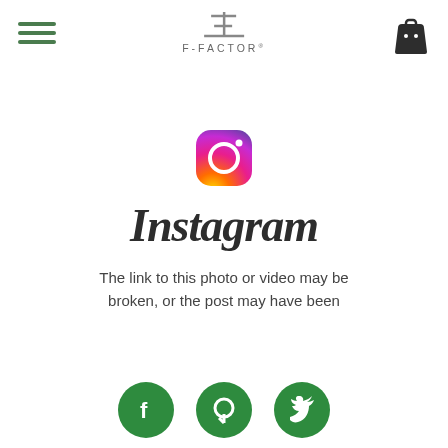F-FACTOR
[Figure (logo): F-Factor brand logo with stylized F and dash, gray text reading F-FACTOR]
[Figure (logo): Instagram logo icon with gradient (orange to pink to purple) camera outline]
Instagram
The link to this photo or video may be broken, or the post may have been
[Figure (infographic): Three green circular social media icons: Facebook (f), Pinterest (P), Twitter (bird)]